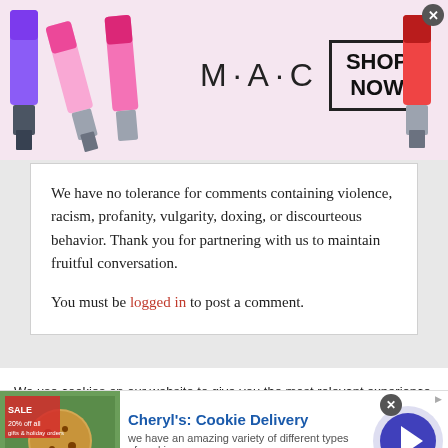[Figure (illustration): MAC Cosmetics advertisement banner with colorful lipsticks on the left, MAC logo text in the center, SHOP NOW button in a rectangle, and a red lipstick on the right with a close (X) button]
We have no tolerance for comments containing violence, racism, profanity, vulgarity, doxing, or discourteous behavior. Thank you for partnering with us to maintain fruitful conversation.
You must be logged in to post a comment.
We use cookies on our website to give you the most relevant experience by remembering your preferences and repeat visits. By clicking "Accept," you consent to the use of ALL the
[Figure (illustration): Cheryl's Cookie Delivery advertisement with cookie image on left, bold blue title, subtitle text 'we have an amazing variety of different types of cookies', cheryls.com URL, and a circular arrow button on the right. Close X button and Ad label in top right.]